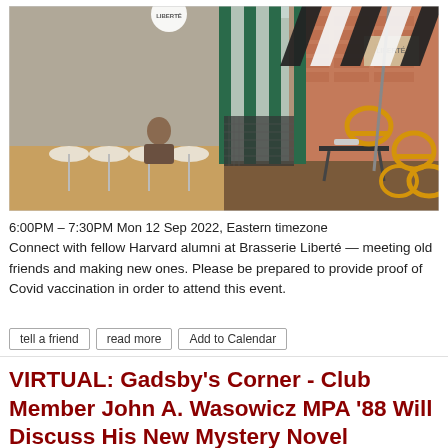[Figure (photo): Exterior photo of Brasserie Liberté restaurant showing open glass accordion doors, bar seating inside, outdoor patio with yellow chairs and dark tables, striped umbrella overhead, brick building to the right]
6:00PM – 7:30PM Mon 12 Sep 2022, Eastern timezone
Connect with fellow Harvard alumni at Brasserie Liberté — meeting old friends and making new ones. Please be prepared to provide proof of Covid vaccination in order to attend this event.
tell a friend
read more
Add to Calendar
VIRTUAL: Gadsby's Corner - Club Member John A. Wasowicz MPA '88 Will Discuss His New Mystery Novel